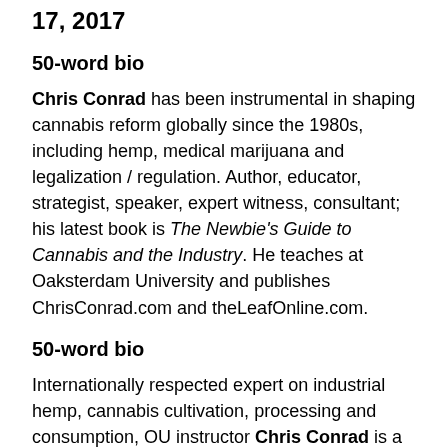17, 2017
50-word bio
Chris Conrad has been instrumental in shaping cannabis reform globally since the 1980s, including hemp, medical marijuana and legalization / regulation. Author, educator, strategist, speaker, expert witness, consultant; his latest book is The Newbie's Guide to Cannabis and the Industry. He teaches at Oaksterdam University and publishes ChrisConrad.com and theLeafOnline.com.
50-word bio
Internationally respected expert on industrial hemp, cannabis cultivation, processing and consumption, OU instructor Chris Conrad is a state and federal court-qualified expert witness who legally grew and processed marijuana in Europe and has given testimony hundreds of times. His latest book is The Newbie's Guide to Cannabis and the Industry.